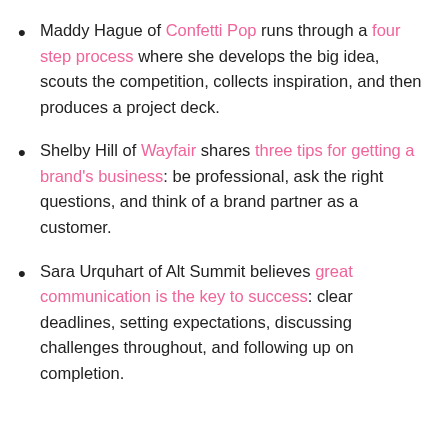Maddy Hague of Confetti Pop runs through a four step process where she develops the big idea, scouts the competition, collects inspiration, and then produces a project deck.
Shelby Hill of Wayfair shares three tips for getting a brand's business: be professional, ask the right questions, and think of a brand partner as a customer.
Sara Urquhart of Alt Summit believes great communication is the key to success: clear deadlines, setting expectations, discussing challenges throughout, and following up on completion.